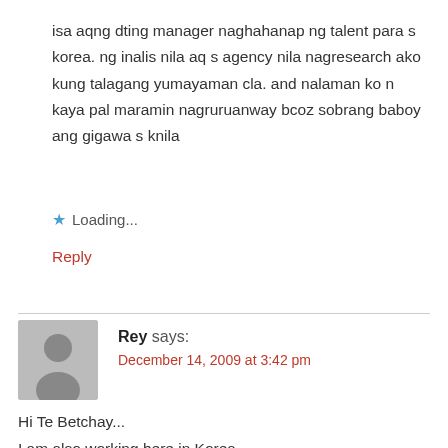isa aqng dting manager naghahanap ng talent para s korea. ng inalis nila aq s agency nila nagresearch ako kung talagang yumayaman cla. and nalaman ko n kaya pal maramin nagruruanway bcoz sobrang baboy ang gigawa s knila
★ Loading...
Reply
Rey says:
December 14, 2009 at 3:42 pm
Hi Te Betchay...
I am also working here in Korea...